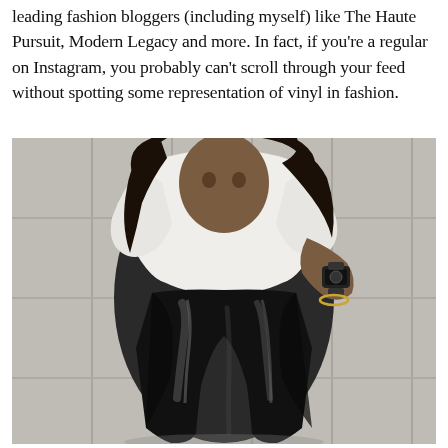leading fashion bloggers (including myself) like The Haute Pursuit, Modern Legacy and more. In fact, if you're a regular on Instagram, you probably can't scroll through your feed without spotting some representation of vinyl in fashion.
[Figure (photo): A woman wearing a white cropped top and shiny black vinyl/patent leather trousers, posing in front of a stone wall. She wears a watch and bracelet on her wrist. The image is in black and white tones with the clothing being the focal point.]